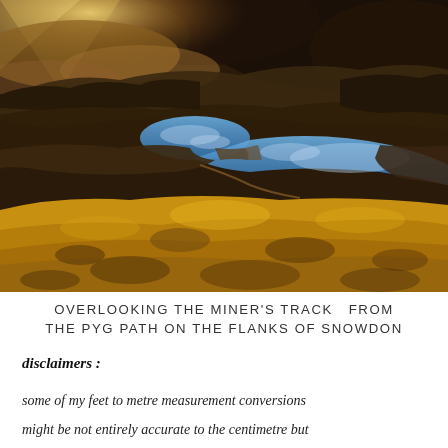[Figure (photo): Aerial/elevated landscape photograph looking down over a mountain valley with two lakes (Llyn Llydaw and Glaslyn) on Snowdon, Wales. The foreground shows vivid golden-yellow and orange moorland/grass. The middle ground features dark rocky terrain and a narrow path/causeway between the lakes. The sky in the upper portion is dramatic with dark clouds and golden sunlight breaking through on the left side.]
OVERLOOKING THE MINER'S TRACK  FROM THE PYG PATH ON THE FLANKS OF SNOWDON
disclaimers :
some of my feet to metre measurement conversions
might be not entirely accurate to the centimetre but